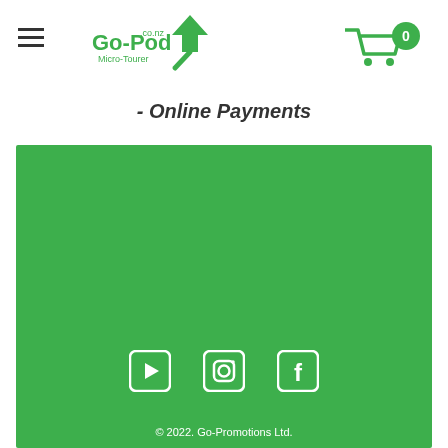[Figure (logo): Go-Pod Micro-Tourer logo with green arrow graphic and shopping cart icon showing 0 items]
- Online Payments
[Figure (other): Green footer block with social media icons (YouTube, Instagram, Facebook) and copyright text]
© 2022. Go-Promotions Ltd.